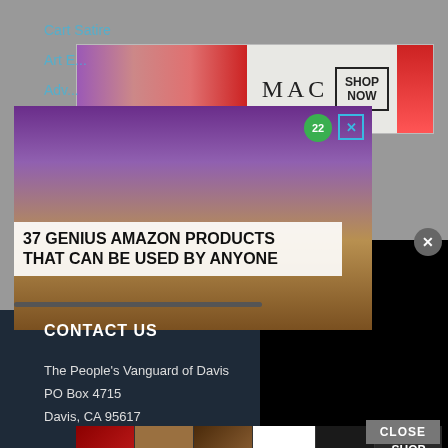[Figure (screenshot): MAC cosmetics advertisement banner with lipsticks and SHOP NOW button]
[Figure (screenshot): Overlay popup ad: '37 GENIUS AMAZON PRODUCTS THAT CAN BE USED BY ANYONE' with purple/gold background and badge showing 22]
Comment Policy
Contact Us
Sitemap
CONTACT US
The People's Vanguard of Davis
PO Box 4715
Davis, CA 95617
[Figure (screenshot): ULTA beauty advertisement banner with makeup/cosmetics images and SHOP NOW button]
CLOSE